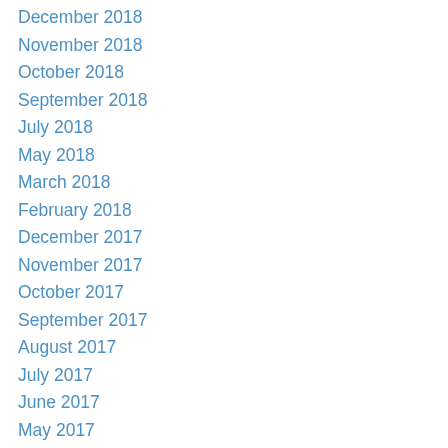December 2018
November 2018
October 2018
September 2018
July 2018
May 2018
March 2018
February 2018
December 2017
November 2017
October 2017
September 2017
August 2017
July 2017
June 2017
May 2017
January 2017
November 2016
October 2016
September 2016